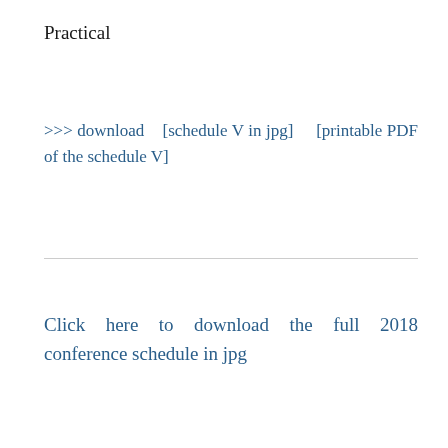Practical
>>> download   [schedule V in jpg]    [printable PDF of the schedule V]
Click here to download the full 2018 conference schedule in jpg